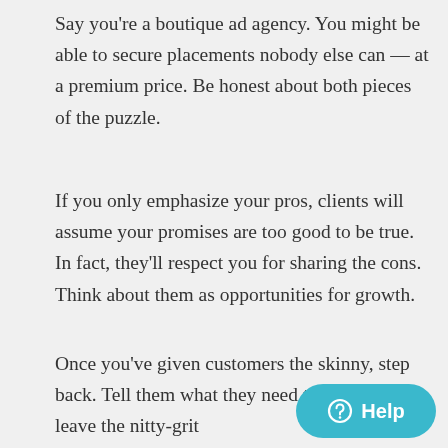Say you're a boutique ad agency. You might be able to secure placements nobody else can — at a premium price. Be honest about both pieces of the puzzle.
If you only emphasize your pros, clients will assume your promises are too good to be true. In fact, they'll respect you for sharing the cons. Think about them as opportunities for growth.
Once you've given customers the skinny, step back. Tell them what they need to know, and leave the nitty-gritty details for later in the relationship. It's about balance.